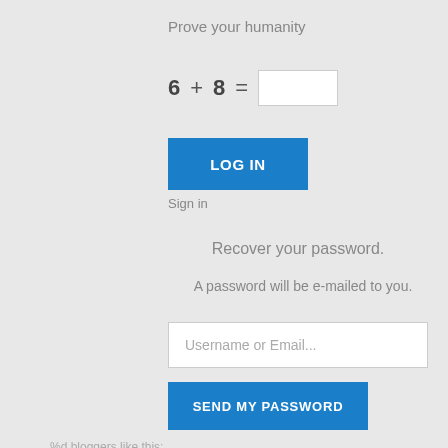Prove your humanity
[Figure (other): LOG IN button - blue rectangle with white uppercase text]
Sign in
Recover your password.
A password will be e-mailed to you.
[Figure (other): Username or Email input field - white rounded rectangle with placeholder text]
[Figure (other): SEND MY PASSWORD button - blue rectangle with white uppercase text]
%d bloggers like this:
☺